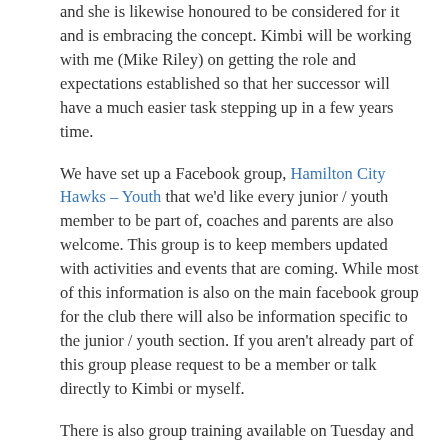and she is likewise honoured to be considered for it and is embracing the concept. Kimbi will be working with me (Mike Riley) on getting the role and expectations established so that her successor will have a much easier task stepping up in a few years time.
We have set up a Facebook group, Hamilton City Hawks – Youth that we'd like every junior / youth member to be part of, coaches and parents are also welcome. This group is to keep members updated with activities and events that are coming. While most of this information is also on the main facebook group for the club there will also be information specific to the junior / youth section. If you aren't already part of this group please request to be a member or talk directly to Kimbi or myself.
There is also group training available on Tuesday and Thursday nights commencing at 5PM that I'll be taking which will be appropriate for the age, fitness levels of each athlete there. This isn't compulsory but is an option available to this age group. So far it's off to a slow start but I'm hoping numbers will increase after Easter and when the school holidays are